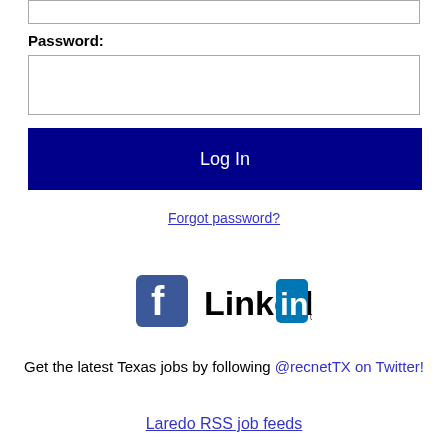[Figure (screenshot): Empty text input box (top partial, password field area)]
Password:
[Figure (screenshot): Empty password input box]
Log In
Forgot password?
[Figure (logo): Facebook logo icon and LinkedIn logo side by side]
Get the latest Texas jobs by following @recnetTX on Twitter!
Laredo RSS job feeds